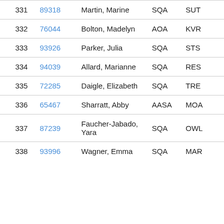| # | ID | Name | Type | Code |
| --- | --- | --- | --- | --- |
| 331 | 89318 | Martin, Marine | SQA | SUT |
| 332 | 76044 | Bolton, Madelyn | AOA | KVR |
| 333 | 93926 | Parker, Julia | SQA | STS |
| 334 | 94039 | Allard, Marianne | SQA | RES |
| 335 | 72285 | Daigle, Elizabeth | SQA | TRE |
| 336 | 65467 | Sharratt, Abby | AASA | MOA |
| 337 | 87239 | Faucher-Jabado, Yara | SQA | OWL |
| 338 | 93996 | Wagner, Emma | SQA | MAR |